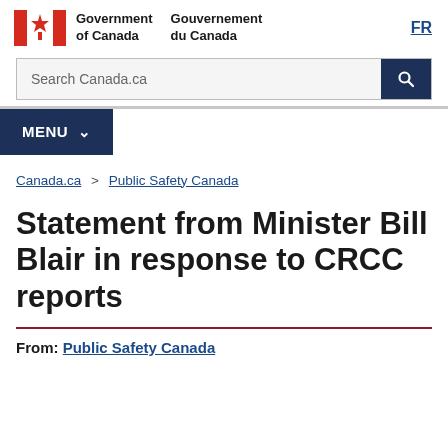[Figure (logo): Government of Canada / Gouvernement du Canada bilingual header with Canada flag logo and FR language link]
[Figure (screenshot): Search Canada.ca search bar with dark blue search button]
MENU
Canada.ca > Public Safety Canada
Statement from Minister Bill Blair in response to CRCC reports
From: Public Safety Canada